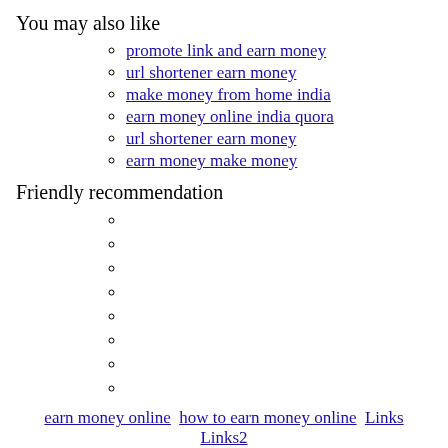You may also like
promote link and earn money
url shortener earn money
make money from home india
earn money online india quora
url shortener earn money
earn money make money
Friendly recommendation
earn money online   how to earn money online   Links   Links2
Provide how to make money during the pandemic period Online information how to make money during the pandemic periodall rights reserved CopyRight 2021 All Rights Reserved.